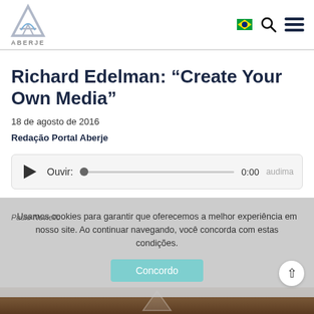[Figure (logo): ABERJE logo with triangular A icon and text ABERJE below]
Richard Edelman: “Create Your Own Media”
18 de agosto de 2016
Redação Portal Aberje
[Figure (other): Audio player widget showing play button, Ouvir: label, track bar with dot, time 0:00, and audima label]
Paulo Noviello
Usamos cookies para garantir que oferecemos a melhor experiência em nosso site. Ao continuar navegando, você concorda com estas condições.
[Figure (photo): Bottom image strip showing a warm-toned photo]